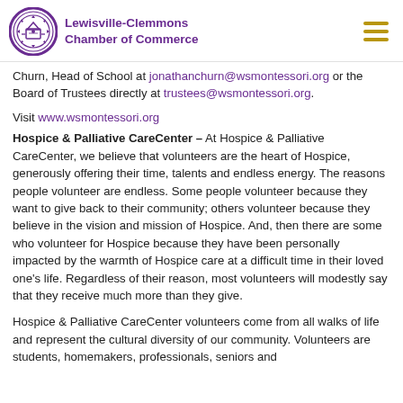Lewisville-Clemmons Chamber of Commerce
Churn, Head of School at jonathanchurn@wsmontessori.org or the Board of Trustees directly at trustees@wsmontessori.org.
Visit www.wsmontessori.org
Hospice & Palliative CareCenter – At Hospice & Palliative CareCenter, we believe that volunteers are the heart of Hospice, generously offering their time, talents and endless energy. The reasons people volunteer are endless. Some people volunteer because they want to give back to their community; others volunteer because they believe in the vision and mission of Hospice. And, then there are some who volunteer for Hospice because they have been personally impacted by the warmth of Hospice care at a difficult time in their loved one's life. Regardless of their reason, most volunteers will modestly say that they receive much more than they give.
Hospice & Palliative CareCenter volunteers come from all walks of life and represent the cultural diversity of our community. Volunteers are students, homemakers, professionals, seniors and